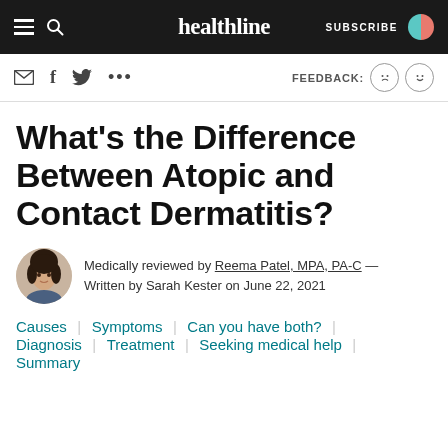healthline — SUBSCRIBE
What's the Difference Between Atopic and Contact Dermatitis?
Medically reviewed by Reema Patel, MPA, PA-C — Written by Sarah Kester on June 22, 2021
Causes
Symptoms
Can you have both?
Diagnosis
Treatment
Seeking medical help
Summary